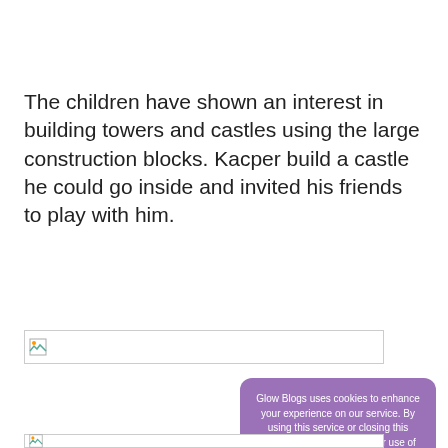The children have shown an interest in building towers and castles using the large construction blocks. Kacper build a castle he could go inside and invited his friends to play with him.
[Figure (photo): Broken/unloaded image placeholder (first)]
[Figure (screenshot): Cookie consent overlay popup: 'Glow Blogs uses cookies to enhance your experience on our service. By using this service or closing this message you consent to our use of those cookies. Please read our Cookie Policy.' with an OK button.]
[Figure (photo): Broken/unloaded image placeholder (second, partially visible)]